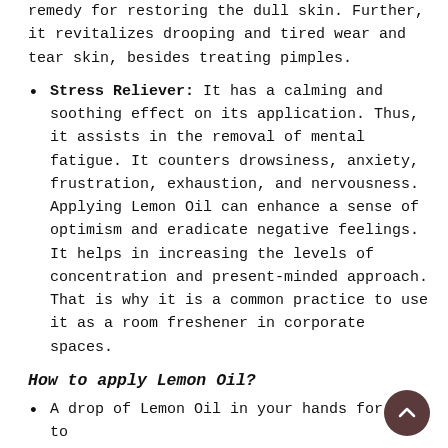remedy for restoring the dull skin. Further, it revitalizes drooping and tired wear and tear skin, besides treating pimples.
Stress Reliever: It has a calming and soothing effect on its application. Thus, it assists in the removal of mental fatigue. It counters drowsiness, anxiety, frustration, exhaustion, and nervousness. Applying Lemon Oil can enhance a sense of optimism and eradicate negative feelings. It helps in increasing the levels of concentration and present-minded approach. That is why it is a common practice to use it as a room freshener in corporate spaces.
How to apply Lemon Oil?
A drop of Lemon Oil in your hands for you to